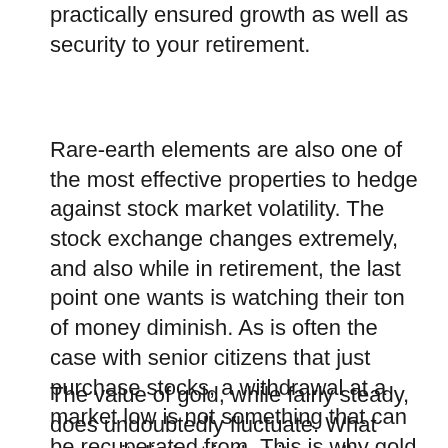practically ensured growth as well as security to your retirement.
Rare-earth elements are also one of the most effective properties to hedge against stock market volatility. The stock exchange changes extremely, and also while in retirement, the last point one wants is watching their ton of money diminish. As is often the case with senior citizens that just purchase stocks, a withdrawal at a market low is not something that can be recuperated from. This is why gold makes the perfect hedge for a retirement.
The value of gold, while fairly steady, does undoubtedly fluctuate. What makes it distinct is that it usually changes in the